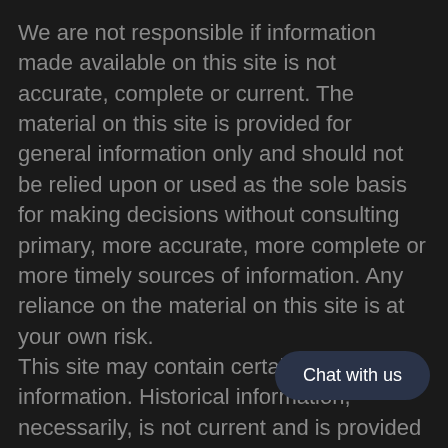We are not responsible if information made available on this site is not accurate, complete or current. The material on this site is provided for general information only and should not be relied upon or used as the sole basis for making decisions without consulting primary, more accurate, more complete or more timely sources of information. Any reliance on the material on this site is at your own risk.
This site may contain certain historical information. Historical information, necessarily, is not current and is provided for your reference only. We reserve the right to modify the contents of this site at any time, but we have no obligation to update any information on our site. You agree that it is your responsibility to monitor changes to our
Chat with us